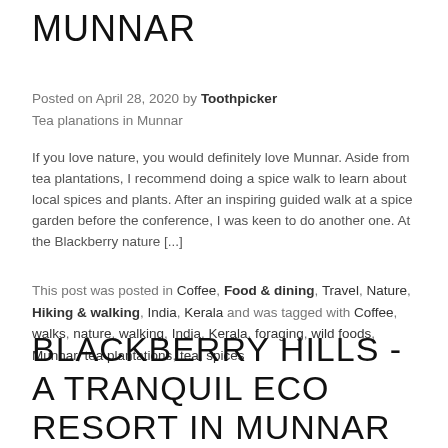MUNNAR
Posted on April 28, 2020 by Toothpicker
Tea planations in Munnar
If you love nature, you would definitely love Munnar. Aside from tea plantations, I recommend doing a spice walk to learn about local spices and plants. After an inspiring guided walk at a spice garden before the conference, I was keen to do another one. At the Blackberry nature [...]
This post was posted in Coffee, Food & dining, Travel, Nature, Hiking & walking, India, Kerala and was tagged with Coffee, walks, nature, walking, India, Kerala, foraging, wild foods, Munnar, tea plantations, tea, spices
BLACKBERRY HILLS - A TRANQUIL ECO RESORT IN MUNNAR